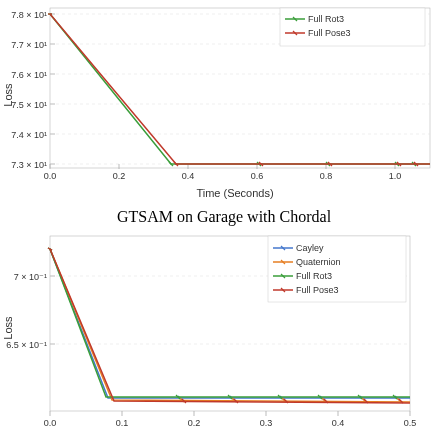[Figure (line-chart): ]
[Figure (line-chart): GTSAM on Garage with Chordal]